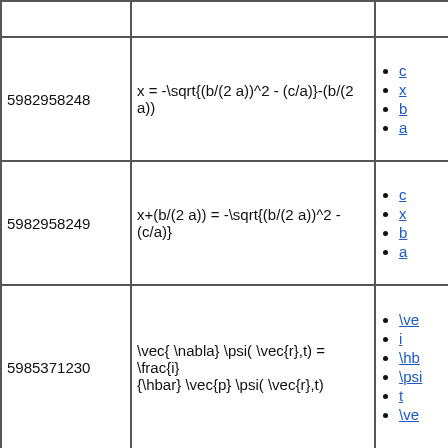| ID | Formula | Links |
| --- | --- | --- |
|  |  |  |
| 5982958248 | x = -\sqrt{(b/(2 a))^2 - (c/a)}-(b/(2 a)) | c, x, b, a |
| 5982958249 | x+(b/(2 a)) = -\sqrt{(b/(2 a))^2 - (c/a)} | c, x, b, a |
| 5985371230 | \vec{ \nabla} \psi( \vec{r},t) = \frac{i}{\hbar} \vec{p} \psi( \vec{r},t) | \vec, i, \hbar, \psi, t, \vec |
| 6023986360 | x | x |